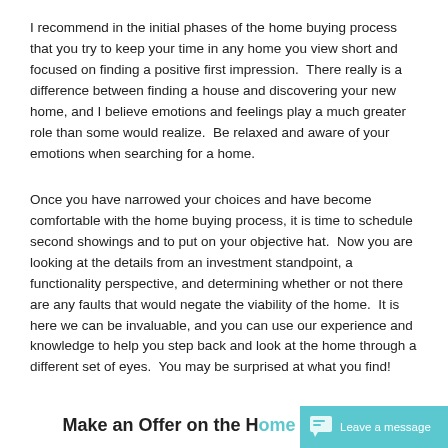I recommend in the initial phases of the home buying process that you try to keep your time in any home you view short and focused on finding a positive first impression.  There really is a difference between finding a house and discovering your new home, and I believe emotions and feelings play a much greater role than some would realize.  Be relaxed and aware of your emotions when searching for a home.
Once you have narrowed your choices and have become comfortable with the home buying process, it is time to schedule second showings and to put on your objective hat.  Now you are looking at the details from an investment standpoint, a functionality perspective, and determining whether or not there are any faults that would negate the viability of the home.  It is here we can be invaluable, and you can use our experience and knowledge to help you step back and look at the home through a different set of eyes.  You may be surprised at what you find!
Make an Offer on the Home